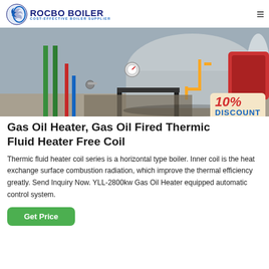[Figure (logo): Rocbo Boiler logo with crescent/globe icon and text ROCBO BOILER COST-EFFECTIVE BOILER SUPPLIER]
[Figure (photo): Industrial boiler room showing horizontal thermic fluid heater with yellow gas pipes, green pipes, pressure gauges, and red/blue piping on a concrete floor. A 10% DISCOUNT badge is overlaid in the bottom right corner.]
Gas Oil Heater, Gas Oil Fired Thermic Fluid Heater Free Coil
Thermic fluid heater coil series is a horizontal type boiler. Inner coil is the heat exchange surface combustion radiation, which improve the thermal efficiency greatly. Send Inquiry Now. YLL-2800kw Gas Oil Heater equipped automatic control system.
Get Price